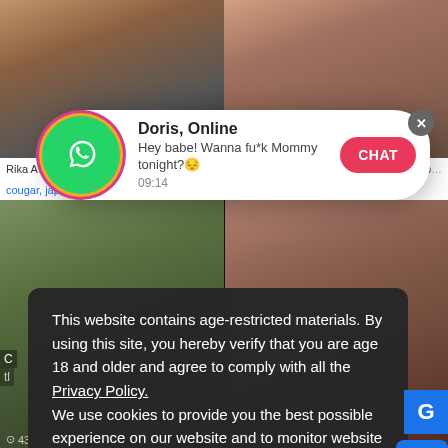[Figure (screenshot): Adult video website screenshot with two top thumbnail images side by side]
Rika A...
Creamp...
cougar, japanese, asian, blowjob
amateur, big tits, milf, threesome
[Figure (screenshot): Two bottom video thumbnails side by side]
[Figure (screenshot): WhatsApp-style notification popup: Doris, Online - Hey babe! Wanna fu*k Mommy tonight? with CHAT button]
This website contains age-restricted materials. By using this site, you hereby verify that you are age 18 and older and agree to comply with all the Privacy Policy.
We use cookies to provide you the best possible experience on our website and to monitor website traffic. Cookies Policy.
43:35
13:56